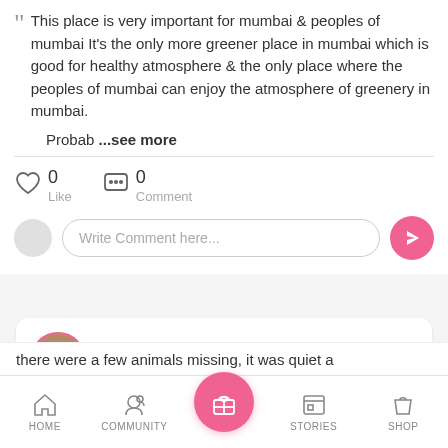“ This place is very important for mumbai & peoples of mumbai It's the only more greener place in mumbai which is good for healthy atmosphere & the only place where the peoples of mumbai can enjoy the atmosphere of greenery in mumbai.
Probab ...see more
0 Like   0 Comment
Write Comment here...
Lynette D'Souza
8 years 6 months old baby
..
HOME   COMMUNITY   [gift icon]   STORIES   SHOP
there were a few animals missing, it was quiet a